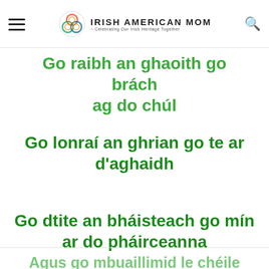Irish American Mom - Celebrating Our Irish Heritage Together
Go raibh an ghaoith go brách ag do chúl
Go lonraí an ghrian go te ar d'aghaidh
Go dtite an bháisteach go mín ar do pháirceanna
Agus go mbuaillimid le chéile